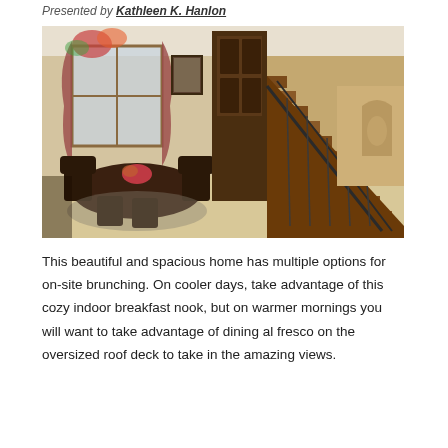Presented by Kathleen K. Hanlon
[Figure (photo): Interior photo of a home showing a formal dining area with dark wood furniture and chairs on the left, and a grand wooden staircase with ornate wrought-iron railing on the right. Decorative floral arrangement visible near a draped window.]
This beautiful and spacious home has multiple options for on-site brunching. On cooler days, take advantage of this cozy indoor breakfast nook, but on warmer mornings you will want to take advantage of dining al fresco on the oversized roof deck to take in the amazing views.